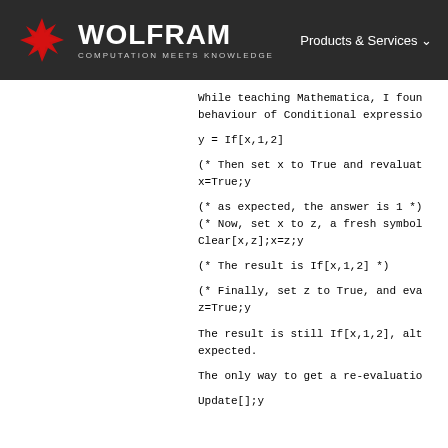[Figure (logo): Wolfram logo with red star/snowflake icon and WOLFRAM text with COMPUTATION MEETS KNOWLEDGE subtitle, plus Products & Services navigation link]
While teaching Mathematica, I foun behaviour of Conditional expressio
y = If[x,1,2]
(* Then set x to True and revaluat x=True;y
(* as expected, the answer is 1 *) (* Now, set x to z, a fresh symbol Clear[x,z];x=z;y
(* The result is If[x,1,2] *)
(* Finally, set z to True, and eva z=True;y
The result is still If[x,1,2], alt expected.
The only way to get a re-evaluatio
Update[];y